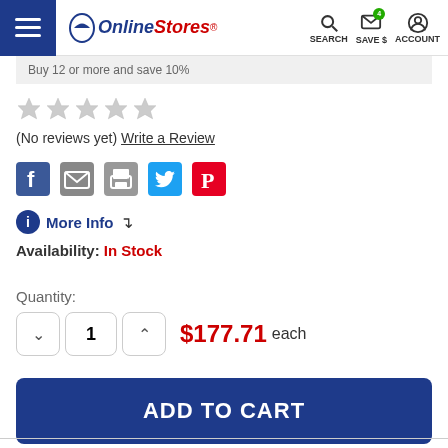OnlineStores — SEARCH, SAVE $, ACCOUNT
Buy 12 or more and save 10%
[Figure (other): 5-star rating display, all stars empty/grey]
(No reviews yet) Write a Review
[Figure (other): Social sharing icons: Facebook, Email, Print, Twitter, Pinterest]
More Info ↓
Availability: In Stock
Quantity:
$177.71 each
ADD TO CART